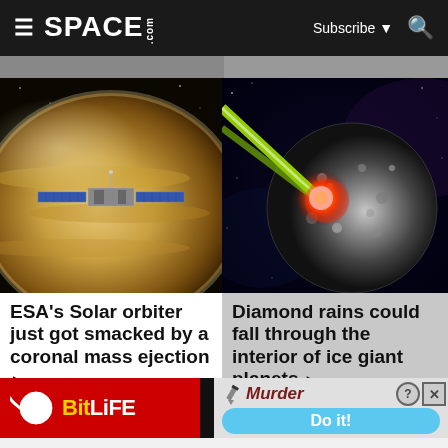SPACE.com — Subscribe — Search
[Figure (photo): ESA Solar Orbiter spacecraft in front of Venus/sun, space scene]
ESA's Solar orbiter just got smacked by a coronal mass ejection ▶
[Figure (illustration): Diamond rain illustration: laser beam hitting a rocky/icy planet, space background]
Diamond rains could fall through the interior of ice giant planets ▶
[Figure (other): BitLife advertisement banner with Murder / Do it! game ad]